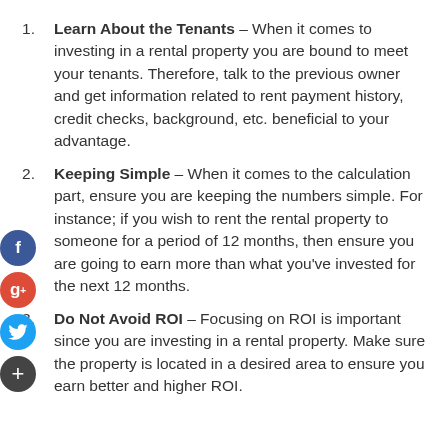Learn About the Tenants – When it comes to investing in a rental property you are bound to meet your tenants. Therefore, talk to the previous owner and get information related to rent payment history, credit checks, background, etc. beneficial to your advantage.
Keeping Simple – When it comes to the calculation part, ensure you are keeping the numbers simple. For instance; if you wish to rent the rental property to someone for a period of 12 months, then ensure you are going to earn more than what you've invested for the next 12 months.
Do Not Avoid ROI – Focusing on ROI is important since you are investing in a rental property. Make sure the property is located in a desired area to ensure you earn better and higher ROI.